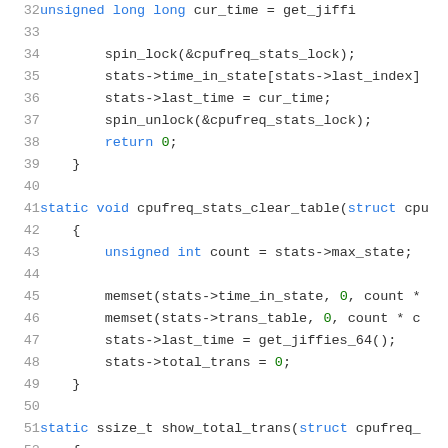Code snippet showing lines 32-52 of a C source file with cpufreq stats functions
32    unsigned long long cur_time = get_jiffi
33
34        spin_lock(&cpufreq_stats_lock);
35        stats->time_in_state[stats->last_index]
36        stats->last_time = cur_time;
37        spin_unlock(&cpufreq_stats_lock);
38        return 0;
39    }
40
41    static void cpufreq_stats_clear_table(struct cpu
42    {
43        unsigned int count = stats->max_state;
44
45        memset(stats->time_in_state, 0, count *
46        memset(stats->trans_table, 0, count * c
47        stats->last_time = get_jiffies_64();
48        stats->total_trans = 0;
49    }
50
51    static ssize_t show_total_trans(struct cpufreq_
52    {